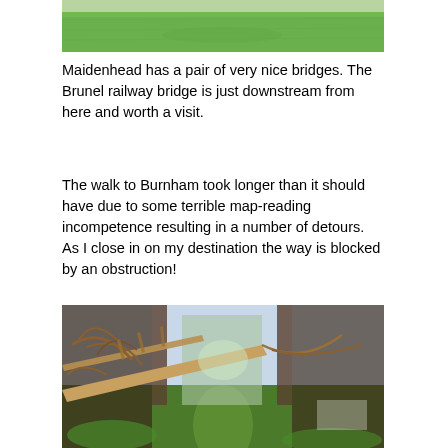[Figure (photo): Partial view of a green grassy field, cropped at top of page]
Maidenhead has a pair of very nice bridges. The Brunel railway bridge is just downstream from here and worth a visit.
The walk to Burnham took longer than it should have due to some terrible map-reading incompetence resulting in a number of detours. As I close in on my destination the way is blocked by an obstruction!
[Figure (photo): A fallen tree blocking a narrow woodland path, with bare branches strewn across the trail and trees on either side]